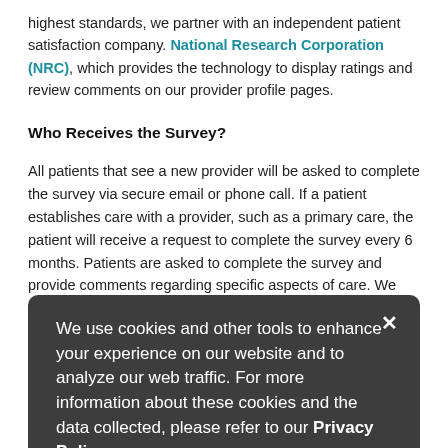highest standards, we partner with an independent patient satisfaction company. National Research Corporation (NRC), which provides the technology to display ratings and review comments on our provider profile pages.
Who Receives the Survey?
All patients that see a new provider will be asked to complete the survey via secure email or phone call. If a patient establishes care with a provider, such as a primary care, the patient will receive a request to complete the survey every 6 months. Patients are asked to complete the survey and provide comments regarding specific aspects of care. We use this feedback to improve and enhance the care we offer.
Do You Post All Comments?
Cooley Dickinson is committed to transparency. That means posting all relevant feedback – whether it's positive or negative. However, we do not post comments that are libelous, profane, or those that identify specific patients. Every provider rating is published, regardless of comment status.
[Figure (other): Cookie consent overlay banner with dark background showing: 'We use cookies and other tools to enhance your experience on our website and to analyze our web traffic. For more information about these cookies and the data collected, please refer to our Privacy Policy.' with a close button (×).]